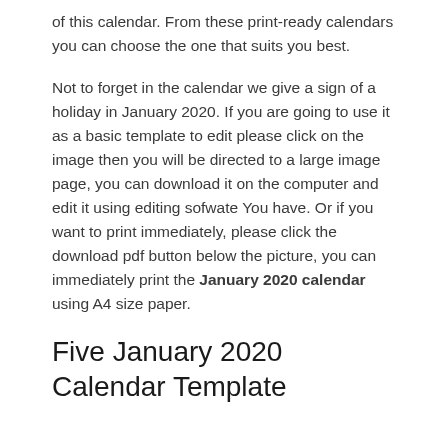of this calendar. From these print-ready calendars you can choose the one that suits you best.
Not to forget in the calendar we give a sign of a holiday in January 2020. If you are going to use it as a basic template to edit please click on the image then you will be directed to a large image page, you can download it on the computer and edit it using editing sofwate You have. Or if you want to print immediately, please click the download pdf button below the picture, you can immediately print the January 2020 calendar using A4 size paper.
Five January 2020 Calendar Template